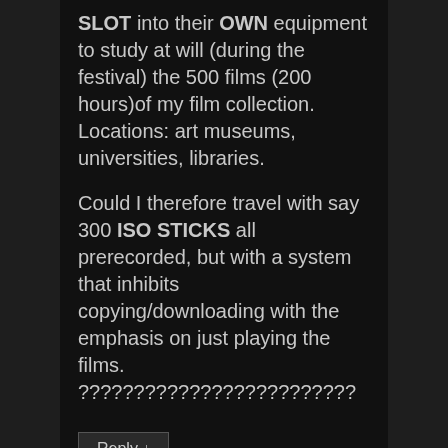SLOT into their OWN equipment to study at will (during the festival) the 500 films (200 hours)of my film collection.
Locations: art museums, universities, libraries.
Could I therefore travel with say 300 ISO STICKS all prerecorded, but with a system that inhibits copying/downloading with the emphasis on just playing the films.
?????????????????????????
Reply ↓